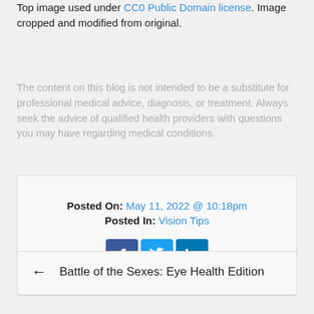Top image used under CC0 Public Domain license. Image cropped and modified from original.
The content on this blog is not intended to be a substitute for professional medical advice, diagnosis, or treatment. Always seek the advice of qualified health providers with questions you may have regarding medical conditions.
Posted On: May 11, 2022 @ 10:18pm
Posted In: Vision Tips
← Battle of the Sexes: Eye Health Edition